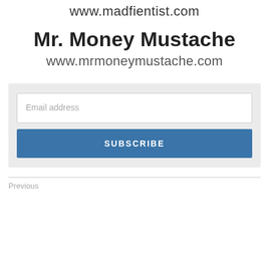www.madfientist.com
Mr. Money Mustache
www.mrmoneymustache.com
[Figure (screenshot): Email subscription form with 'Email address' input field and 'SUBSCRIBE' button on a light grey background]
Previous